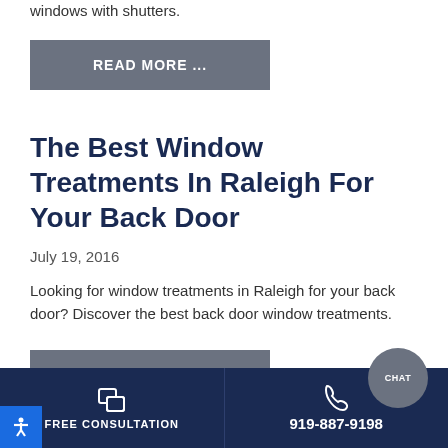windows with shutters.
READ MORE ...
The Best Window Treatments In Raleigh For Your Back Door
July 19, 2016
Looking for window treatments in Raleigh for your back door? Discover the best back door window treatments.
READ MORE ...
FREE CONSULTATION  919-887-9198  CHAT